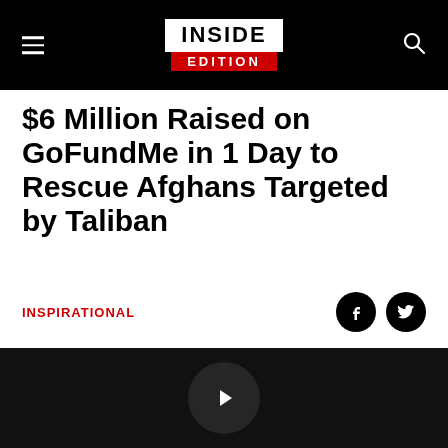INSIDE EDITION
$6 Million Raised on GoFundMe in 1 Day to Rescue Afghans Targeted by Taliban
INSPIRATIONAL
[Figure (screenshot): Video player thumbnail — dark/black background with circular play button in center]